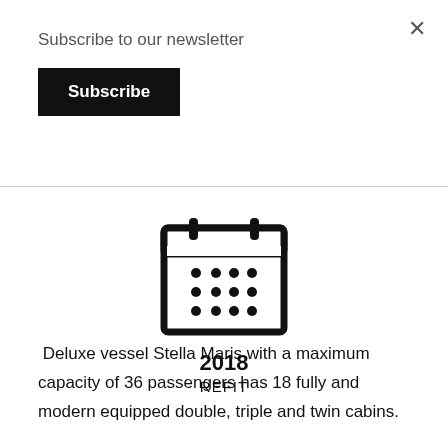Subscribe to our newsletter
Subscribe
[Figure (illustration): Calendar icon with grid of dots representing days]
2018
REFIT
Deluxe vessel Stella Maris with a maximum capacity of 36 passengers has 18 fully and modern equipped double, triple and twin cabins.